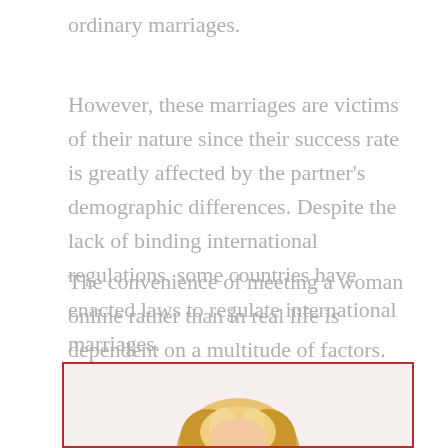ordinary marriages.
However, these marriages are victims of their nature since their success rate is greatly affected by the partner's demographic differences. Despite the lack of binding international regulations, some countries have enacted laws to regulate international marriages.
The convenience of meeting a woman online rather than in real life is dependent on a multitude of factors.
[Figure (photo): A photo of a blonde woman with hair visible at the bottom of the page, shown within a red-bordered frame.]